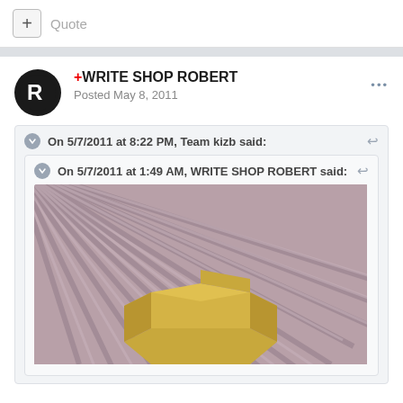+ Quote
+WRITE SHOP ROBERT
Posted May 8, 2011
On 5/7/2011 at 8:22 PM, Team kizb said:
On 5/7/2011 at 1:49 AM, WRITE SHOP ROBERT said:
[Figure (photo): A cardboard box on a wooden slatted surface, photo taken from above at an angle]